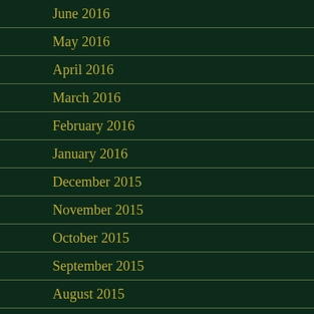June 2016
May 2016
April 2016
March 2016
February 2016
January 2016
December 2015
November 2015
October 2015
September 2015
August 2015
July 2015
June 2015
May 2015
April 2015
March 2015